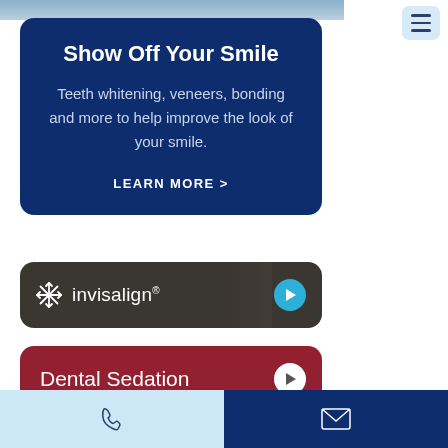[Figure (screenshot): Partial view of a person in blue clothing at top of page]
[Figure (infographic): Hamburger menu button icon, top right]
Show Off Your Smile
Teeth whitening, veneers, bonding and more to help improve the look of your smile.
LEARN MORE >
[Figure (logo): Invisalign logo on dark card with play button]
[Figure (infographic): Dental Sedation button card in dark red with play button]
[Figure (infographic): Footer bar with phone icon (light blue) and envelope icon (dark blue)]